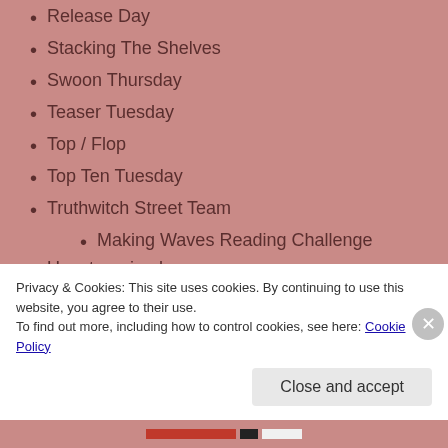Release Day
Stacking The Shelves
Swoon Thursday
Teaser Tuesday
Top / Flop
Top Ten Tuesday
Truthwitch Street Team
Making Waves Reading Challenge
Uncategorized
Waiting on Wednesday
Privacy & Cookies: This site uses cookies. By continuing to use this website, you agree to their use. To find out more, including how to control cookies, see here: Cookie Policy